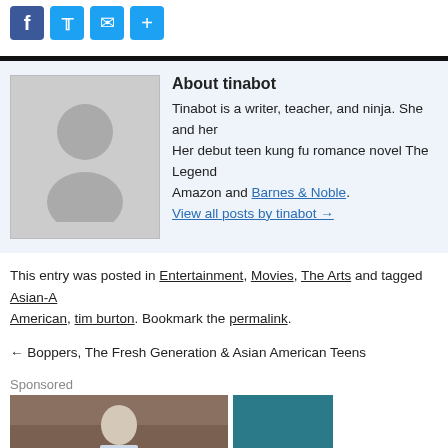[Figure (other): Social sharing icons: Facebook, Twitter, Email, Share]
About tinabot
Tinabot is a writer, teacher, and ninja. She and her Her debut teen kung fu romance novel The Legend Amazon and Barnes & Noble.
View all posts by tinabot →
This entry was posted in Entertainment, Movies, The Arts and tagged Asian-American, tim burton. Bookmark the permalink.
← Boppers, The Fresh Generation & Asian American Teens
Sponsored
[Figure (photo): Sponsored content image showing an older man in a white shirt in an ornate building setting]